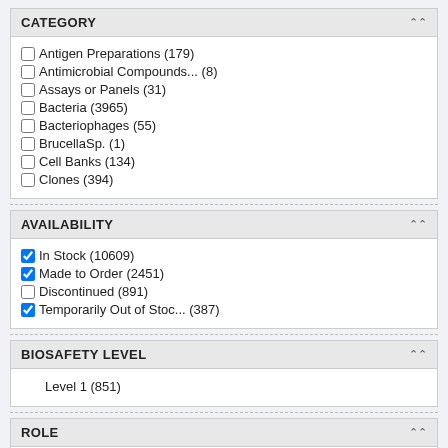CATEGORY
Antigen Preparations (179)
Antimicrobial Compounds... (8)
Assays or Panels (31)
Bacteria (3965)
Bacteriophages (55)
BrucellaSp. (1)
Cell Banks (134)
Clones (394)
AVAILABILITY
In Stock (10609)
Made to Order (2451)
Discontinued (891)
Temporarily Out of Stoc... (387)
BIOSAFETY LEVEL
Level 1 (851)
ROLE
BEI Level 1 (851)